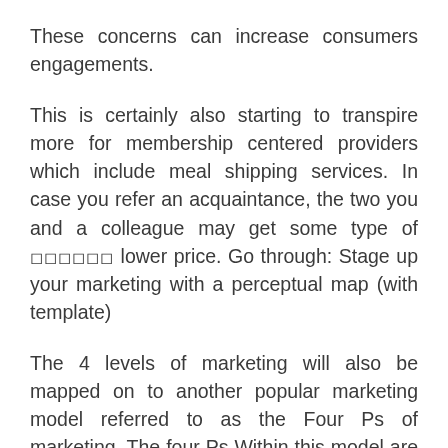These concerns can increase consumers engagements.
This is certainly also starting to transpire more for membership centered providers which include meal shipping services. In case you refer an acquaintance, the two you and a colleague may get some type of 🔲🔲🔲🔲🔲🔲 lower price. Go through: Stage up your marketing with a perceptual map (with template)
The 4 levels of marketing will also be mapped on to another popular marketing model referred to as the Four Ps of marketing. The four Ps Within this model are solution, value, marketing, and area.